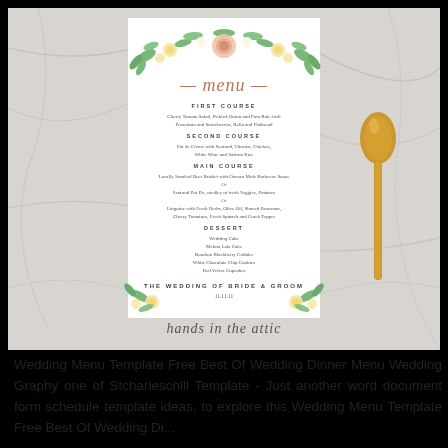[Figure (photo): Wedding dinner menu card with floral (pink roses, yellow flowers, green leaves) decorations at top and bottom corners, displaying a multi-course menu for a wedding. A gold spoon is placed to the right of the card, all resting on a white marble surface. Watermark text 'hands in the attic' appears at the bottom of the marble area.]
Wedding Menu Template Free Best Of Wedding Dinner Menu Wedding Graphy one of Stcharleschill Template - Just another word document form schedule template ideas, to explore this Wedding Menu Template Free Best Of Wedding Di...